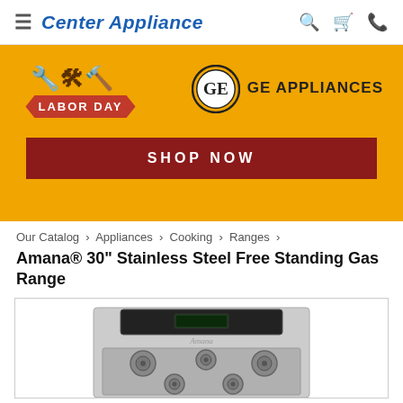Center Appliance
[Figure (infographic): Labor Day sale banner with GE Appliances logo and SHOP NOW button on orange background]
Our Catalog › Appliances › Cooking › Ranges ›
Amana® 30" Stainless Steel Free Standing Gas Range
[Figure (photo): Photo of Amana 30 inch stainless steel free standing gas range, showing the top of the stove with burners and control panel]